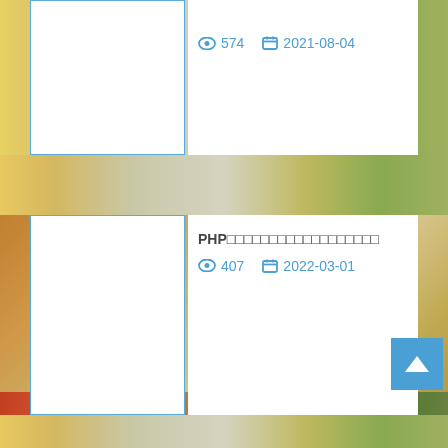574  2021-08-04
PHP□□□□□□□□□□□□□□□□□□  407  2022-03-01
□□□□□□□□□□□□□□□□□□□□  482  2022-03-06
golang □□□□□□□□□  480  2021-12-23
□□docker□□nginx□□,□□□□□□  975  2020-07-02